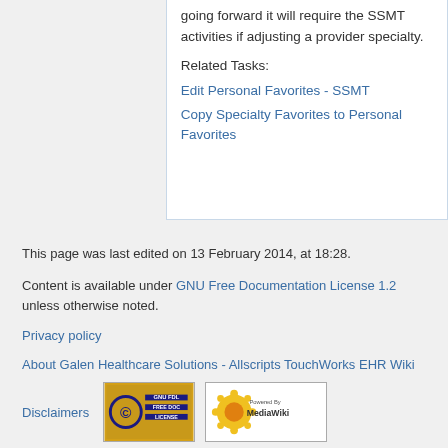going forward it will require the SSMT activities if adjusting a provider specialty.
Related Tasks:
Edit Personal Favorites - SSMT
Copy Specialty Favorites to Personal Favorites
This page was last edited on 13 February 2014, at 18:28.
Content is available under GNU Free Documentation License 1.2 unless otherwise noted.
Privacy policy
About Galen Healthcare Solutions - Allscripts TouchWorks EHR Wiki
Disclaimers
[Figure (logo): GNU FDL Free Doc License badge and Powered by MediaWiki badge]